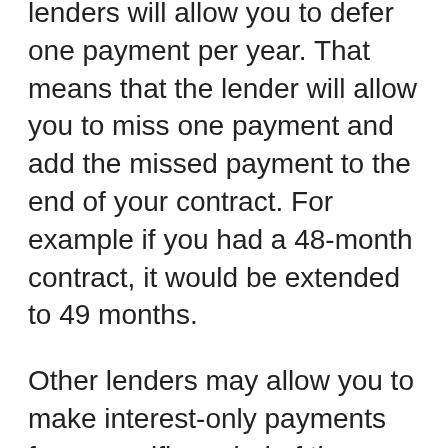lenders will allow you to defer one payment per year. That means that the lender will allow you to miss one payment and add the missed payment to the end of your contract. For example if you had a 48-month contract, it would be extended to 49 months.
Other lenders may allow you to make interest-only payments for a specific period of time. The principal is added to the end of your contract and is due with your final payment.
Occasionally the lender will consider allowing you to refinance your car. The contract would be longer so you would be paying more in interest charges each month.